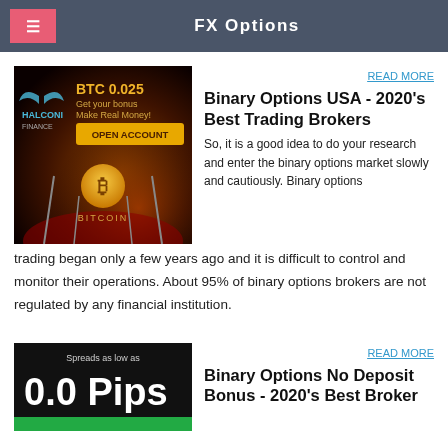FX Options
[Figure (photo): Halconi Finance advertisement with BTC 0.025 bitcoin bonus offer, OPEN ACCOUNT button, and Bitcoin logo with red carpet background]
READ MORE
Binary Options USA - 2020's Best Trading Brokers
So, it is a good idea to do your research and enter the binary options market slowly and cautiously. Binary options trading began only a few years ago and it is difficult to control and monitor their operations. About 95% of binary options brokers are not regulated by any financial institution.
[Figure (photo): Spreads as low as 0.0 Pips advertisement on black background with green button]
READ MORE
Binary Options No Deposit Bonus - 2020's Best Broker